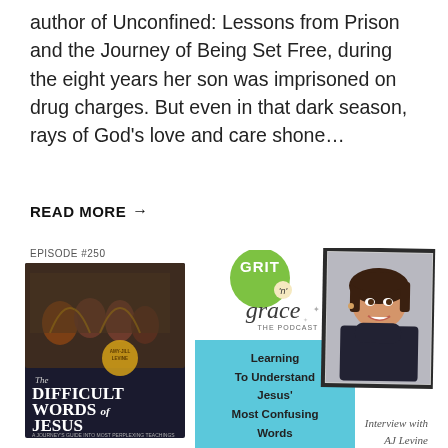author of Unconfined: Lessons from Prison and the Journey of Being Set Free, during the eight years her son was imprisoned on drug charges. But even in that dark season, rays of God's love and care shone…
READ MORE →
Episode #250
[Figure (illustration): Book cover of 'The Difficult Words of Jesus' by Amy-Jill Levine]
[Figure (logo): Grit 'n' Grace The Podcast logo with green circle]
LEARNING TO UNDERSTAND JESUS' MOST CONFUSING WORDS
[Figure (photo): Headshot of a woman with short dark hair, smiling, wearing a dark turtleneck]
Interview with AJ Levine